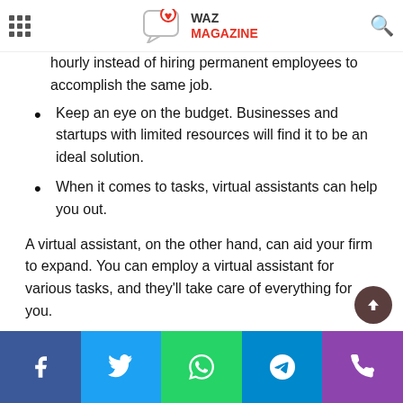WAZ MAGAZINE
hourly instead of hiring permanent employees to accomplish the same job.
Keep an eye on the budget. Businesses and startups with limited resources will find it to be an ideal solution.
When it comes to tasks, virtual assistants can help you out.
A virtual assistant, on the other hand, can aid your firm to expand. You can employ a virtual assistant for various tasks, and they'll take care of everything for you.
We'll go over the duties that virtual assistants can perform.
Facebook | Twitter | WhatsApp | Telegram | Phone